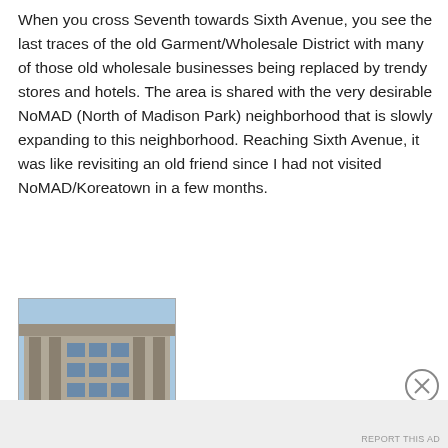When you cross Seventh towards Sixth Avenue, you see the last traces of the old Garment/Wholesale District with many of those old wholesale businesses being replaced by trendy stores and hotels. The area is shared with the very desirable NoMAD (North of Madison Park) neighborhood that is slowly expanding to this neighborhood. Reaching Sixth Avenue, it was like revisiting an old friend since I had not visited NoMAD/Koreatown in a few months.
[Figure (photo): Photograph of a multi-story building facade with columns and windows, appearing to be an older commercial or institutional building with a light blue sky background.]
Advertisements